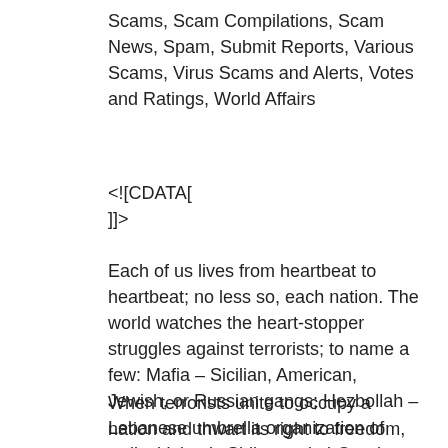Scams, Scam Compilations, Scam News, Spam, Submit Reports, Various Scams, Virus Scams and Alerts, Votes and Ratings, World Affairs
<![CDATA[
]]>
Each of us lives from heartbeat to heartbeat; no less so, each nation. The world watches the heart-stopper struggles against terrorists; to name a few: Mafia – Sicilian, American, Jewish, or Russian gangs; Hezbollah – Lebanese umbrella organization of radical Islamic Shiite; and al-Qaeda – international terrorist network seeking to replace free governments with fundamentalist Islamic regimes.
When terrorists unite to occupy a nation and thwart its right to freedom, free nations are to stand with the